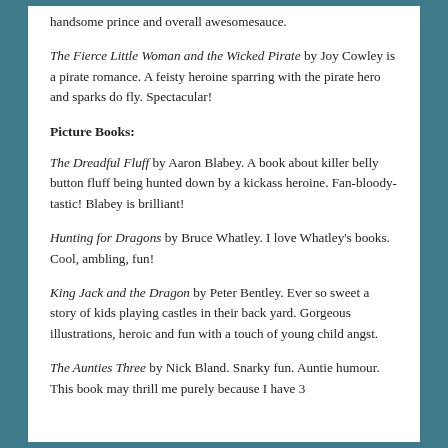handsome prince and overall awesomesauce.
The Fierce Little Woman and the Wicked Pirate by Joy Cowley is a pirate romance. A feisty heroine sparring with the pirate hero and sparks do fly. Spectacular!
Picture Books:
The Dreadful Fluff by Aaron Blabey. A book about killer belly button fluff being hunted down by a kickass heroine. Fan-bloody-tastic! Blabey is brilliant!
Hunting for Dragons by Bruce Whatley. I love Whatley's books. Cool, ambling, fun!
King Jack and the Dragon by Peter Bentley. Ever so sweet a story of kids playing castles in their back yard. Gorgeous illustrations, heroic and fun with a touch of young child angst.
The Aunties Three by Nick Bland. Snarky fun. Auntie humour. This book may thrill me purely because I have 3